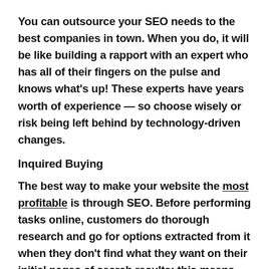You can outsource your SEO needs to the best companies in town. When you do, it will be like building a rapport with an expert who has all of their fingers on the pulse and knows what's up! These experts have years worth of experience — so choose wisely or risk being left behind by technology-driven changes.
Inquired Buying
The best way to make your website the most profitable is through SEO. Before performing tasks online, customers do thorough research and go for options extracted from it when they don't find what they want on their initial pages of search results; this means you need an optimized site in order not only be seen but also act as a